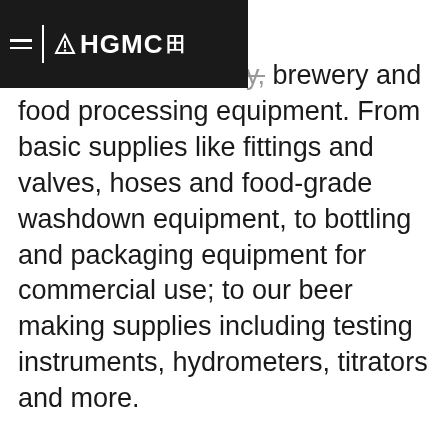HGMC [logo]
ensive supply of commercial brewery, brewery and food processing equipment. From basic supplies like fittings and valves, hoses and food-grade washdown equipment, to bottling and packaging equipment for commercial use; to our beer making supplies including testing instruments, hydrometers, titrators and more.
GW Kent is known for its premium quality and expansive stock of brewing supplies and microbrewery equipment. In this section, you will find everything from beer fermenters, brite tanks, brewhouses and accompanying equipment, carbonation systems, cellar equipment and supplies, filtrations items